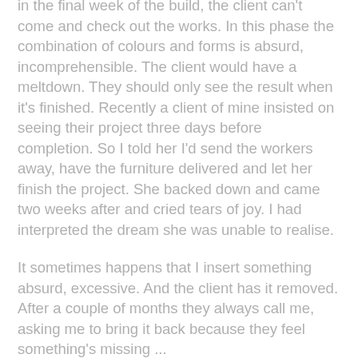in the final week of the build, the client can't come and check out the works. In this phase the combination of colours and forms is absurd, incomprehensible. The client would have a meltdown. They should only see the result when it's finished. Recently a client of mine insisted on seeing their project three days before completion. So I told her I'd send the workers away, have the furniture delivered and let her finish the project. She backed down and came two weeks after and cried tears of joy. I had interpreted the dream she was unable to realise.
It sometimes happens that I insert something absurd, excessive. And the client has it removed. After a couple of months they always call me, asking me to bring it back because they feel something's missing ...